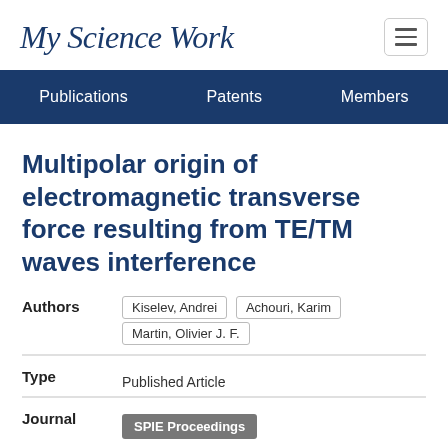MyScienceWork
Publications  Patents  Members
Multipolar origin of electromagnetic transverse force resulting from TE/TM waves interference
Authors: Kiselev, Andrei  Achouri, Karim  Martin, Olivier J. F.
Type: Published Article
Journal: SPIE Proceedings
Publisher